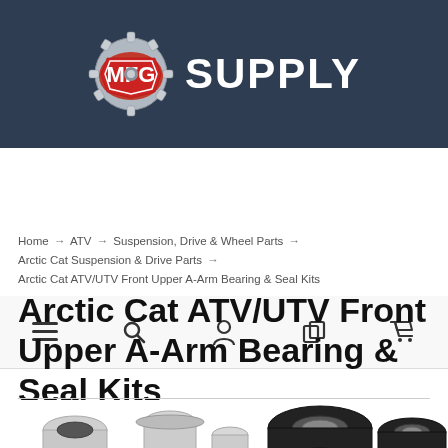[Figure (logo): MFG Supply logo with gear icon on dark blue background]
[Figure (screenshot): Navigation bar with hamburger menu, search, account, compare, and cart icons]
Home → ATV → Suspension, Drive & Wheel Parts → Arctic Cat Suspension & Drive Parts → Arctic Cat ATV/UTV Front Upper A-Arm Bearing & Seal Kits
Arctic Cat ATV/UTV Front Upper A-Arm Bearing & Seal Kits
[Figure (photo): Product photo of bearing and seal kit components including cylindrical metal bushings and black rubber seals]